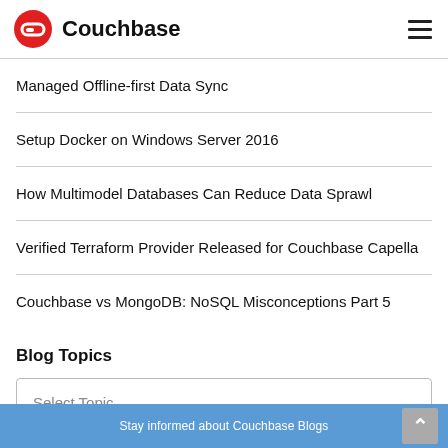Couchbase
Managed Offline-first Data Sync
Setup Docker on Windows Server 2016
How Multimodel Databases Can Reduce Data Sprawl
Verified Terraform Provider Released for Couchbase Capella
Couchbase vs MongoDB: NoSQL Misconceptions Part 5
Blog Topics
Select Topic
Stay informed about Couchbase Blogs